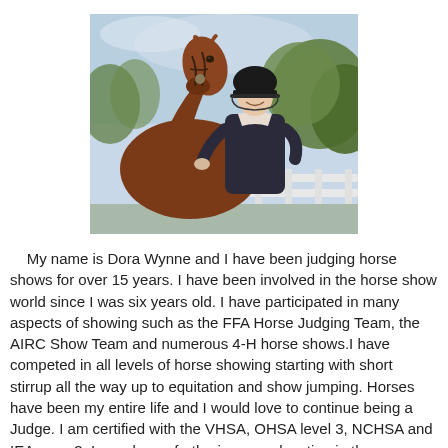[Figure (photo): A person wearing a black equestrian helmet and dark jacket stands beside a brown horse, smiling. Trees and a white fence are visible in the background.]
My name is Dora Wynne and I have been judging horse shows for over 15 years. I have been involved in the horse show world since I was six years old. I have participated in many aspects of showing such as the FFA Horse Judging Team, the AIRC Show Team and numerous 4-H horse shows.I have competed in all levels of horse showing starting with short stirrup all the way up to equitation and show jumping. Horses have been my entire life and I would love to continue being a Judge. I am certified with the VHSA, OHSA level 3, NCHSA and IEA zone 3. I am always furthering my education in the